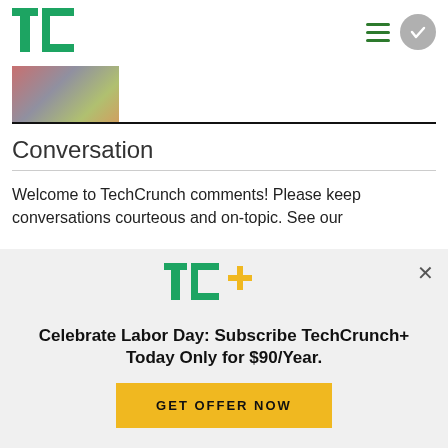TechCrunch
[Figure (photo): Thumbnail image of article, colorful scene with shelves or displays]
Conversation
Welcome to TechCrunch comments! Please keep conversations courteous and on-topic. See our
[Figure (infographic): TechCrunch+ promotional overlay: TC+ logo, headline 'Celebrate Labor Day: Subscribe TechCrunch+ Today Only for $90/Year.', button 'GET OFFER NOW']